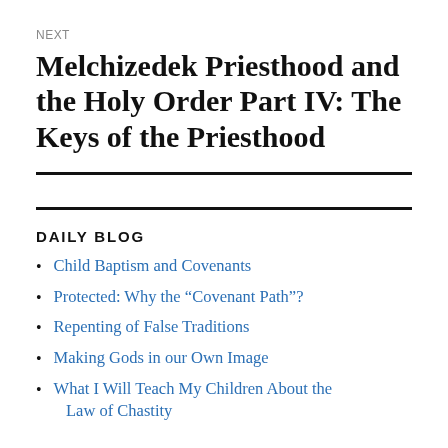NEXT
Melchizedek Priesthood and the Holy Order Part IV: The Keys of the Priesthood
DAILY BLOG
Child Baptism and Covenants
Protected: Why the “Covenant Path”?
Repenting of False Traditions
Making Gods in our Own Image
What I Will Teach My Children About the Law of Chastity